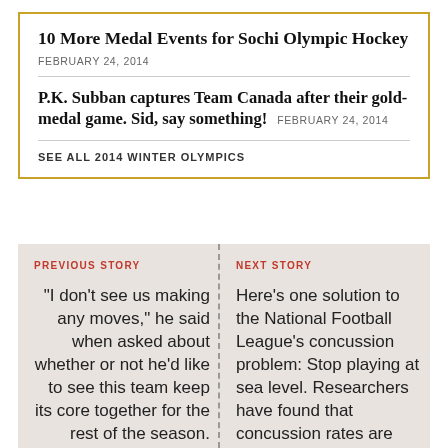10 More Medal Events for Sochi Olympic Hockey
FEBRUARY 24, 2014
P.K. Subban captures Team Canada after their gold-medal game. Sid, say something!
FEBRUARY 24, 2014
SEE ALL 2014 WINTER OLYMPICS
PREVIOUS STORY
"I don't see us making any moves," he said when asked about whether or not he'd like to see this team keep its core together for the rest of the season. Williams then went on to add, "last time I said that, I think, I got
NEXT STORY
Here's one solution to the National Football League's concussion problem: Stop playing at sea level. Researchers have found that concussion rates are about 30% lower in games played at higher altitudes